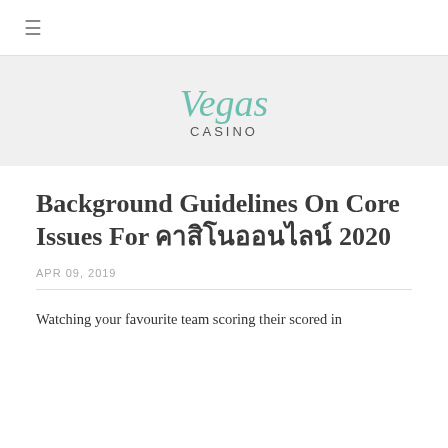≡
Vegas
CASINO
Background Guidelines On Core Issues For คาสิโนออนไลน์ 2020
APR 09, 2019
Watching your favourite team scoring their scored in